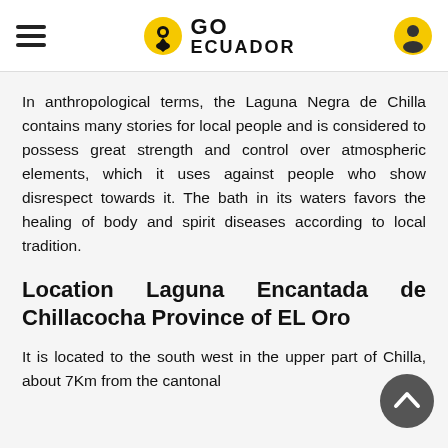GO ECUADOR
In anthropological terms, the Laguna Negra de Chilla contains many stories for local people and is considered to possess great strength and control over atmospheric elements, which it uses against people who show disrespect towards it. The bath in its waters favors the healing of body and spirit diseases according to local tradition.
Location Laguna Encantada de Chillacocha Province of EL Oro
It is located to the south west in the upper part of Chilla, about 7Km from the cantonal